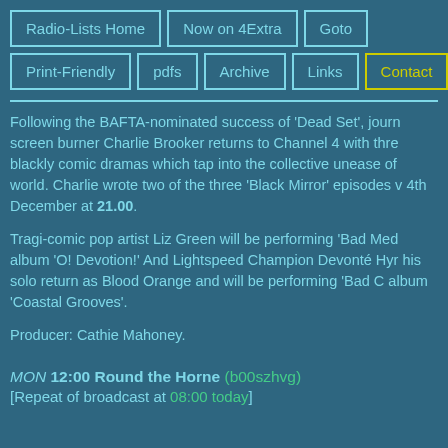Radio-Lists Home | Now on 4Extra | Goto | Print-Friendly | pdfs | Archive | Links | Contact
Following the BAFTA-nominated success of 'Dead Set', journ screen burner Charlie Brooker returns to Channel 4 with thre blackly comic dramas which tap into the collective unease of world. Charlie wrote two of the three 'Black Mirror' episodes v 4th December at 21.00.
Tragi-comic pop artist Liz Green will be performing 'Bad Med album 'O! Devotion!' And Lightspeed Champion Devonté Hyr his solo return as Blood Orange and will be performing 'Bad C album 'Coastal Grooves'.
Producer: Cathie Mahoney.
MON 12:00 Round the Horne (b00szhvg) [Repeat of broadcast at 08:00 today]